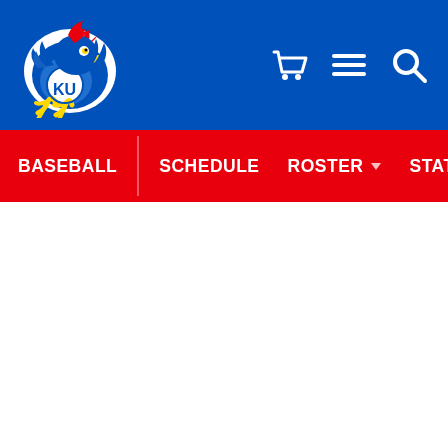[Figure (logo): University of Kansas Jayhawk mascot logo with KU text, blue and red bird on white background]
BASEBALL | SCHEDULE | ROSTER | STATS | NEWS | TICK...